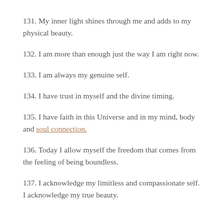131. My inner light shines through me and adds to my physical beauty.
132. I am more than enough just the way I am right now.
133. I am always my genuine self.
134. I have trust in myself and the divine timing.
135. I have faith in this Universe and in my mind, body and soul connection.
136. Today I allow myself the freedom that comes from the feeling of being boundless.
137. I acknowledge my limitless and compassionate self. I acknowledge my true beauty.